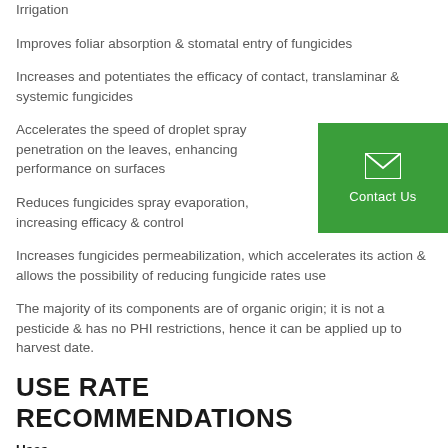Irrigation
Improves foliar absorption & stomatal entry of fungicides
Increases and potentiates the efficacy of contact, translaminar & systemic fungicides
Accelerates the speed of droplet spray penetration on the leaves, enhancing performance on surfaces
Reduces fungicides spray evaporation, increasing efficacy & control
Increases fungicides permeabilization, which accelerates its action & allows the possibility of reducing fungicide rates use
The majority of its components are of organic origin; it is not a pesticide & has no PHI restrictions, hence it can be applied up to harvest date.
USE RATE RECOMMENDATIONS
Uses
A broad variety of crops including Wheat, Alfalfa, Pastures,